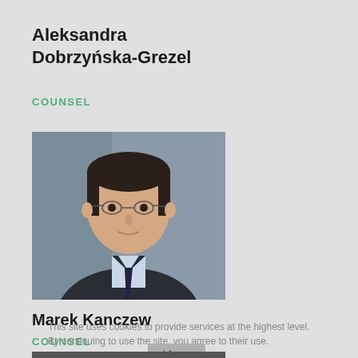Aleksandra Dobrzyńska-Grezel
COUNSEL
[Figure (photo): Professional headshot photograph of a man with short dark hair, wearing glasses, a dark suit, and a light blue checked shirt with a dark tie. Gray background.]
Marek Kanczew
COUNSEL
This site uses cookies to provide services at the highest level. By continuing to use the site, you agree to their use.